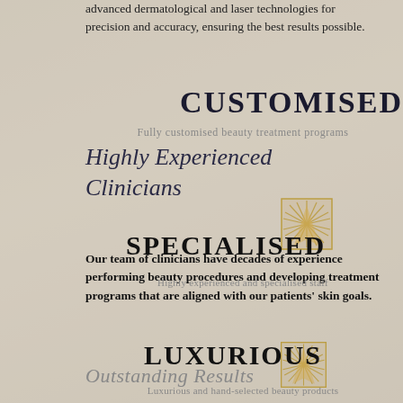advanced dermatological and laser technologies for precision and accuracy, ensuring the best results possible.
CUSTOMISED
Fully customised beauty treatment programs
Highly Experienced Clinicians
[Figure (logo): Gold sunburst/fan logo mark]
SPECIALISED
Our team of clinicians have decades of experience performing beauty procedures and developing treatment programs that are aligned with our patients' skin goals.
Highly experienced and specialised staff
[Figure (logo): Gold sunburst/fan logo mark]
LUXURIOUS
Outstanding Results
Luxurious and hand-selected beauty products